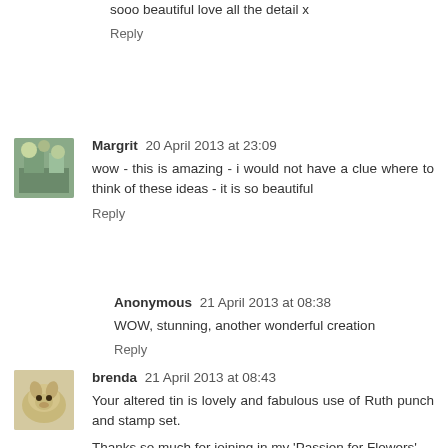sooo beautiful love all the detail x
Reply
Margrit 20 April 2013 at 23:09
wow - this is amazing - i would not have a clue where to think of these ideas - it is so beautiful
Reply
Anonymous 21 April 2013 at 08:38
WOW, stunning, another wonderful creation
Reply
brenda 21 April 2013 at 08:43
Your altered tin is lovely and fabulous use of Ruth punch and stamp set.
Thanks so much for joining in my 'Passion for Flowers'